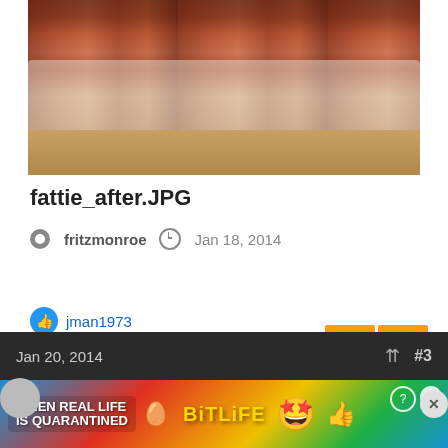[Figure (photo): Photo of cooked meat (likely bacon-wrapped items) on a white plate on a wooden cutting board]
fattie_after.JPG
fritzmonroe  Jan 18, 2014
jman1973
Jan 20, 2014  #3